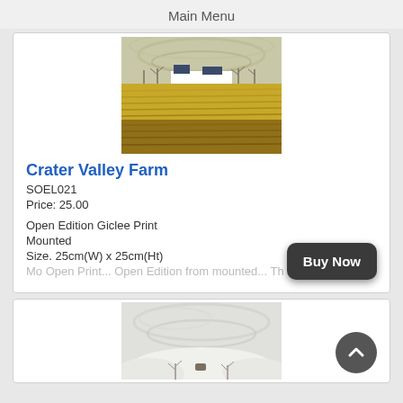Main Menu
[Figure (photo): Painting of Crater Valley Farm showing a white farmhouse with bare trees against a swirling sky, set above golden-yellow fields.]
Crater Valley Farm
SOEL021
Price: 25.00
Open Edition Giclee Print
Mounted
Size. 25cm(W) x 25cm(Ht)
Buy Now
[Figure (photo): Painting of a snowy winter landscape with swirling white sky and snow-covered hills.]